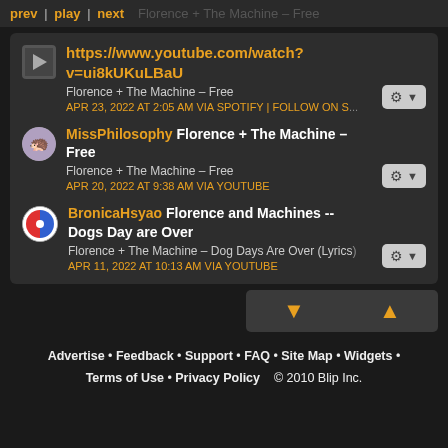prev | play | next   Florence + The Machine – Free
https://www.youtube.com/watch?v=ui8kUKuLBaU
Florence + The Machine – Free
APR 23, 2022 AT 2:05 AM VIA SPOTIFY | FOLLOW ON S...
MissPhilosophy Florence + The Machine – Free
Florence + The Machine – Free
APR 20, 2022 AT 9:38 AM VIA YOUTUBE
BronicaHsyao Florence and Machines -- Dogs Day are Over
Florence + The Machine – Dog Days Are Over (Lyrics)
APR 11, 2022 AT 10:13 AM VIA YOUTUBE
Advertise • Feedback • Support • FAQ • Site Map • Widgets • Terms of Use • Privacy Policy   © 2010 Blip Inc.